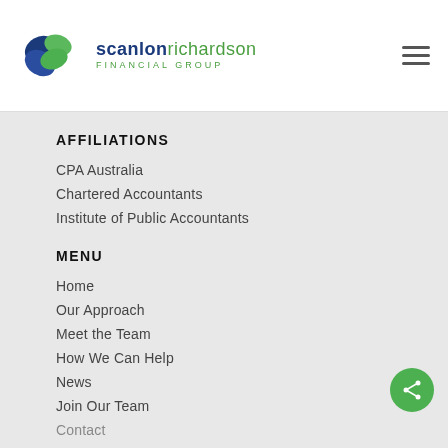[Figure (logo): Scanlon Richardson Financial Group logo with blue and green overlapping shapes and company name]
AFFILIATIONS
CPA Australia
Chartered Accountants
Institute of Public Accountants
MENU
Home
Our Approach
Meet the Team
How We Can Help
News
Join Our Team
Contact